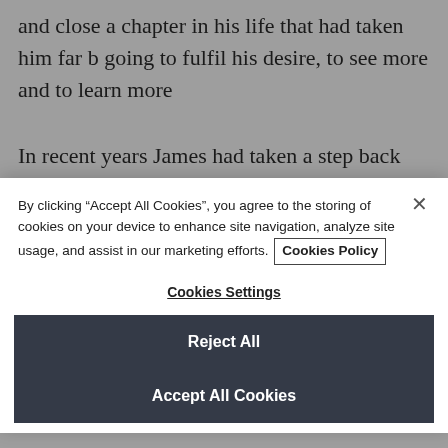and close a chapter in his life that had taken him far b going to fulfil his desire, to see more and to learn more
In recent years James had taken a step back from bei learner in his chosen occupation, realizing that he ha reached a point where he knew enough and that wha know he could comfortably learn on his own. It was fr
By clicking "Accept All Cookies", you agree to the storing of cookies on your device to enhance site navigation, analyze site usage, and assist in our marketing efforts. Cookies Policy
Cookies Settings
Reject All
Accept All Cookies